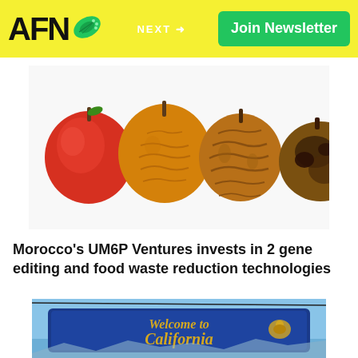AFN | NEXT → | Join Newsletter
[Figure (photo): Four apples in a row showing progressive stages of decay from fresh red apple on the left to a heavily rotted brown apple on the right, on a white background.]
Morocco's UM6P Ventures invests in 2 gene editing and food waste reduction technologies
[Figure (photo): A blue California state welcome sign reading 'Welcome to California' with gold script lettering and golden poppy flowers, against a blue sky background.]